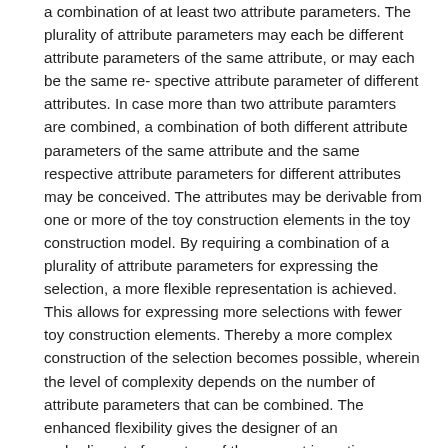a combination of at least two attribute parameters. The plurality of attribute parameters may each be different attribute parameters of the same attribute, or may each be the same re- spective attribute parameter of different attributes. In case more than two attribute paramters are combined, a combination of both different attribute parameters of the same attribute and the same respective attribute parameters for different attributes may be conceived. The attributes may be derivable from one or more of the toy construction elements in the toy construction model. By requiring a combination of a plurality of attribute parameters for expressing the selection, a more flexible representation is achieved. This allows for expressing more selections with fewer toy construction elements. Thereby a more complex construction of the selection becomes possible, wherein the level of complexity depends on the number of attribute parameters that can be combined. The enhanced flexibility gives the designer of an embodiment of a system of the present invention more freedom of design for constructing selection rules for the specific context of the embodiment. For example, the designer may choose to use this freedom to be sure that attribute dimensions are the same